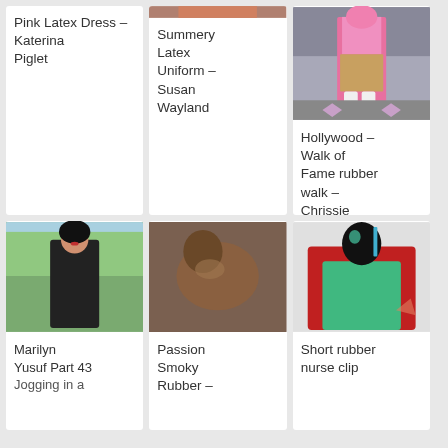[Figure (photo): Card: Pink Latex Dress – Katerina Piglet, no image shown]
Pink Latex Dress – Katerina Piglet
[Figure (photo): Card: Summery Latex Uniform – Susan Wayland, partial image at top]
Summery Latex Uniform – Susan Wayland
[Figure (photo): Card: Hollywood – Walk of Fame rubber walk – Chrissie Seams, photo of person in pink latex and leopard skirt on Hollywood Walk of Fame]
Hollywood – Walk of Fame rubber walk – Chrissie Seams
[Figure (photo): Card: Marilyn Yusuf Part 43 – Jogging in a, photo of woman in black latex catsuit outdoors]
Marilyn Yusuf Part 43 Jogging in a
[Figure (photo): Card: Passion Smoky Rubber –, photo of person in brown latex]
Passion Smoky Rubber –
[Figure (photo): Card: Short rubber nurse clip, photo of person in red latex jacket and green apron with mask]
Short rubber nurse clip